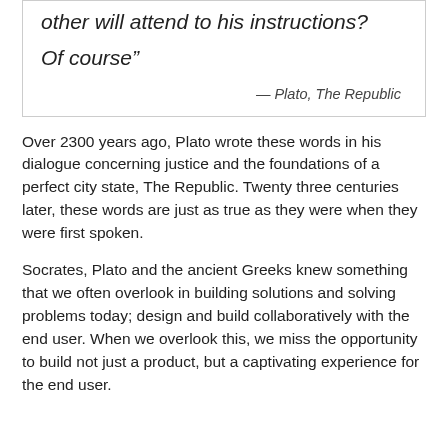other will attend to his instructions?

Of course"
— Plato, The Republic
Over 2300 years ago, Plato wrote these words in his dialogue concerning justice and the foundations of a perfect city state, The Republic. Twenty three centuries later, these words are just as true as they were when they were first spoken.
Socrates, Plato and the ancient Greeks knew something that we often overlook in building solutions and solving problems today; design and build collaboratively with the end user. When we overlook this, we miss the opportunity to build not just a product, but a captivating experience for the end user.